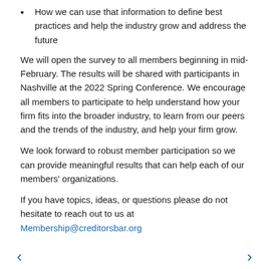How we can use that information to define best practices and help the industry grow and address the future
We will open the survey to all members beginning in mid-February. The results will be shared with participants in Nashville at the 2022 Spring Conference. We encourage all members to participate to help understand how your firm fits into the broader industry, to learn from our peers and the trends of the industry, and help your firm grow.
We look forward to robust member participation so we can provide meaningful results that can help each of our members' organizations.
If you have topics, ideas, or questions please do not hesitate to reach out to us at Membership@creditorsbar.org